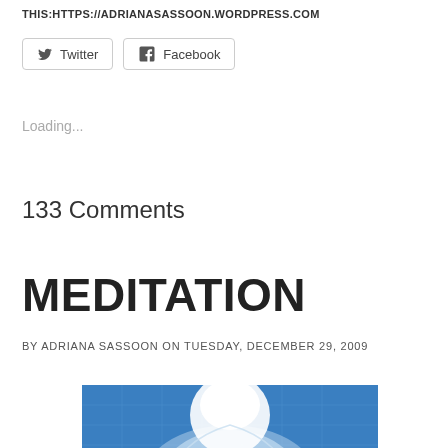THIS:HTTPS://ADRIANASASSOON.WORDPRESS.COM
[Figure (infographic): Twitter and Facebook social share buttons with bird and F icons, bordered rectangles]
Loading...
133 Comments
MEDITATION
BY ADRIANA SASSOON ON TUESDAY, DECEMBER 29, 2009
[Figure (photo): Meditation-themed image showing a glowing brain/head outline against a blue background with grid lines, white light emanating from the top center]